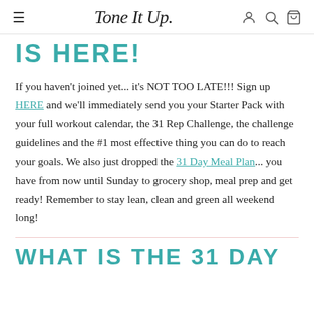Tone It Up
IS HERE!
If you haven't joined yet... it's NOT TOO LATE!!! Sign up HERE and we'll immediately send you your Starter Pack with your full workout calendar, the 31 Rep Challenge, the challenge guidelines and the #1 most effective thing you can do to reach your goals. We also just dropped the 31 Day Meal Plan... you have from now until Sunday to grocery shop, meal prep and get ready! Remember to stay lean, clean and green all weekend long!
WHAT IS THE 31 DAY